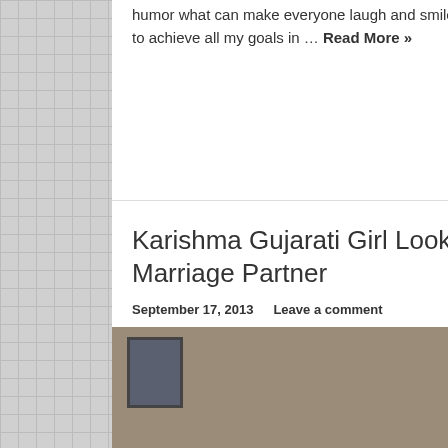humor what can make everyone laugh and smile. My life motto is to work hard to achieve all my goals in … Read More »
Karishma Gujarati Girl Looking For A Marriage Partner
September 17, 2013    Leave a comment
[Figure (photo): Photo of a young woman wearing a white headscarf and white short-sleeved top, standing outdoors in front of a building with a barred window]